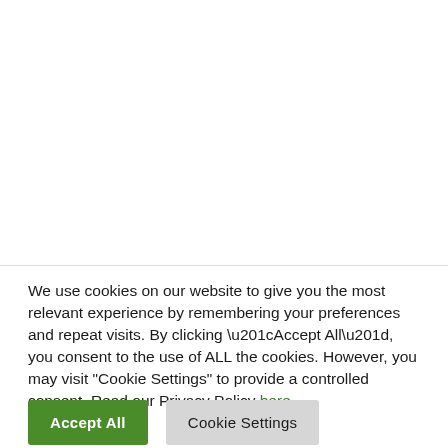We use cookies on our website to give you the most relevant experience by remembering your preferences and repeat visits. By clicking “Accept All”, you consent to the use of ALL the cookies. However, you may visit "Cookie Settings" to provide a controlled consent. Read our Privacy Policy here